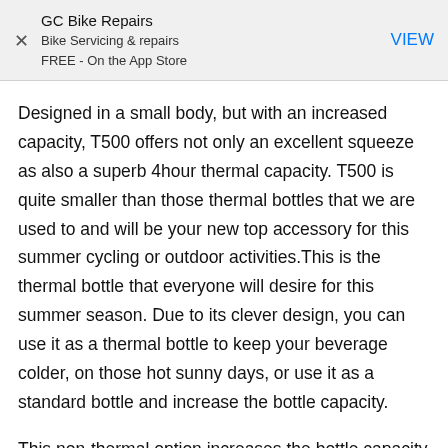[Figure (screenshot): App Store banner ad for GC Bike Repairs app with X close button, app name, subtitle 'Bike Servicing & repairs', 'FREE - On the App Store', and a blue 'VIEW' button]
Designed in a small body, but with an increased capacity, T500 offers not only an excellent squeeze as also a superb 4hour thermal capacity. T500 is quite smaller than those thermal bottles that we are used to and will be your new top accessory for this summer cycling or outdoor activities.This is the thermal bottle that everyone will desire for this summer season. Due to its clever design, you can use it as a thermal bottle to keep your beverage colder, on those hot sunny days, or use it as a standard bottle and increase the bottle capacity.
This non-thermal option increases the bottle capacity to 650 ml. To use the thermal option, keep the cup and foam ? 500 ml capacity.In the thermal option, at, for example, an